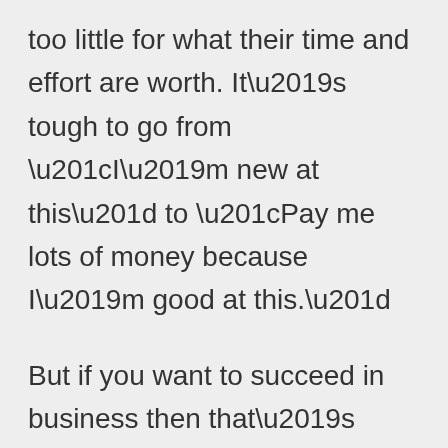too little for what their time and effort are worth. It’s tough to go from “I’m new at this” to “Pay me lots of money because I’m good at this.”
But if you want to succeed in business then that’s exactly what you have to do at some point. After the learning curve, once the referrals started coming in, Kate had that “ah-ha” moment where everything seemed to click into